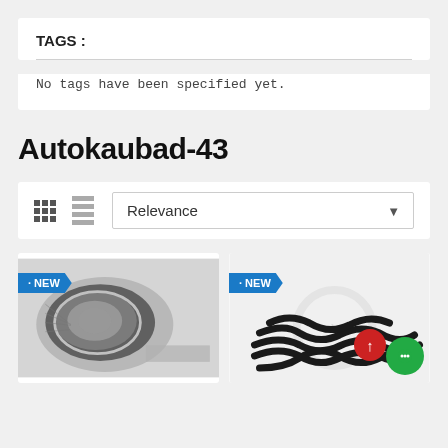TAGS :
No tags have been specified yet.
Autokaubad-43
[Figure (screenshot): Toolbar with grid/list view icons and a Relevance dropdown selector]
[Figure (photo): Car headlight product image with NEW badge]
[Figure (photo): Coil spring product image with NEW badge]